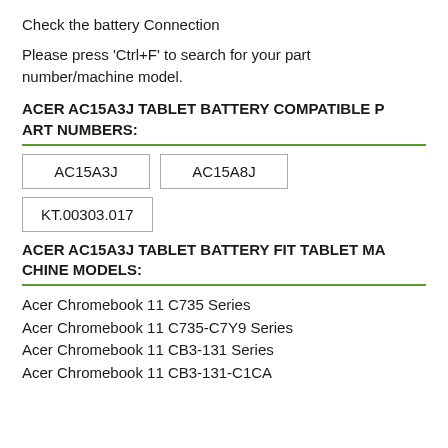Check the battery Connection
Please press 'Ctrl+F' to search for your part number/machine model.
ACER AC15A3J TABLET BATTERY COMPATIBLE PART NUMBERS:
AC15A3J | AC15A8J | KT.00303.017
ACER AC15A3J TABLET BATTERY FIT TABLET MACHINE MODELS:
Acer Chromebook 11 C735 Series
Acer Chromebook 11 C735-C7Y9 Series
Acer Chromebook 11 CB3-131 Series
Acer Chromebook 11 CB3-131-C1CA